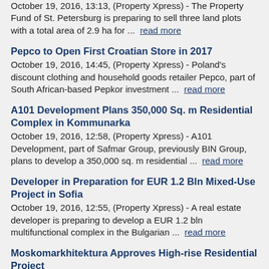October 19, 2016, 13:13, (Property Xpress) - The Property Fund of St. Petersburg is preparing to sell three land plots with a total area of 2.9 ha for ...  read more
Pepco to Open First Croatian Store in 2017
October 19, 2016, 14:45, (Property Xpress) - Poland's discount clothing and household goods retailer Pepco, part of South African-based Pepkor investment ...  read more
A101 Development Plans 350,000 Sq. m Residential Complex in Kommunarka
October 19, 2016, 12:58, (Property Xpress) - A101 Development, part of Safmar Group, previously BIN Group, plans to develop a 350,000 sq. m residential ...  read more
Developer in Preparation for EUR 1.2 Bln Mixed-Use Project in Sofia
October 19, 2016, 12:55, (Property Xpress) - A real estate developer is preparing to develop a EUR 1.2 bln multifunctional complex in the Bulgarian ...  read more
Moskomarkhitektura Approves High-rise Residential Project
October 19, 2016, 12:36, (Property Xpress) - Moskomarkhitektura has approved the architectural design of a high-rise residential project to be built in the ...  read more
Update: Bulgaria's Tallest Building Project to Break Ground in 2016
October 19, 2016, 12:20, (Property Xpress) - Construction of